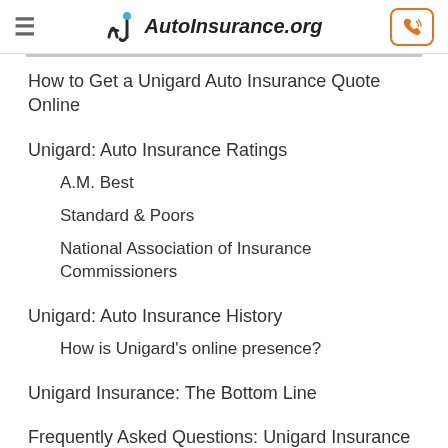AutoInsurance.org
How to Get a Unigard Auto Insurance Quote Online
Unigard: Auto Insurance Ratings
A.M. Best
Standard & Poors
National Association of Insurance Commissioners
Unigard: Auto Insurance History
How is Unigard's online presence?
Unigard Insurance: The Bottom Line
Frequently Asked Questions: Unigard Insurance